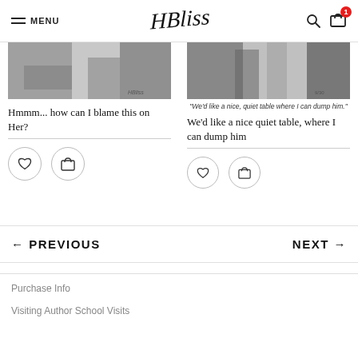MENU — HBliss — [search] [cart]
[Figure (photo): Grayscale photo of an outdoor scene, left product card]
Hmmm... how can I blame this on Her?
[Figure (photo): Grayscale photo with caption: "We'd like a nice, quiet table where I can dump him."]
"We'd like a nice, quiet table where I can dump him."
We'd like a nice quiet table, where I can dump him
← PREVIOUS
NEXT →
Purchase Info
Visiting Author School Visits